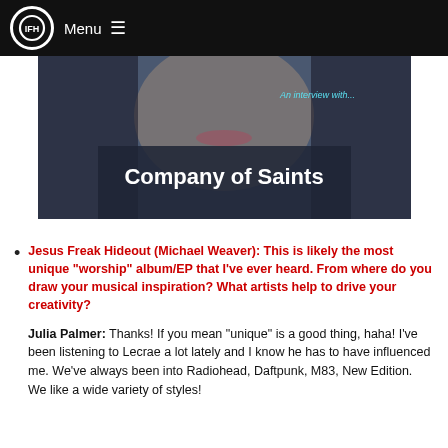IFH Menu
[Figure (photo): Hero image of a woman in a dark jacket, with overlay text 'An interview with... Company of Saints']
Jesus Freak Hideout (Michael Weaver): This is likely the most unique "worship" album/EP that I've ever heard. From where do you draw your musical inspiration? What artists help to drive your creativity?
Julia Palmer: Thanks! If you mean "unique" is a good thing, haha! I've been listening to Lecrae a lot lately and I know he has to have influenced me. We've always been into Radiohead, Daftpunk, M83, New Edition. We like a wide variety of styles!